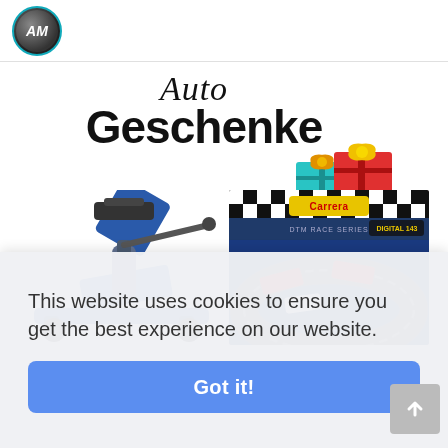AM logo
Auto Geschenke
[Figure (illustration): Gift boxes emoji illustration — two wrapped presents with ribbons and bows in red and teal/blue]
[Figure (photo): Blue hydraulic floor jack / car jack product image]
[Figure (photo): Carrera Digital racing slot car set box with DTM race cars on a circuit]
This website uses cookies to ensure you get the best experience on our website.
Got it!